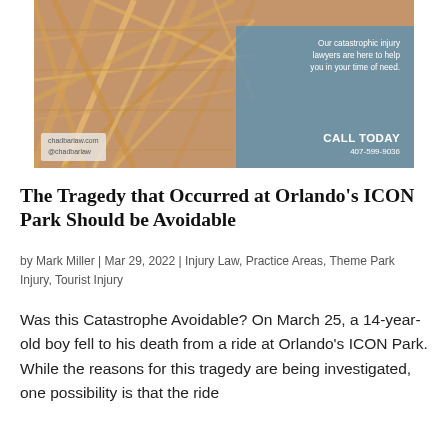[Figure (photo): Advertisement banner for chadbarlaw.com showing a metal scaffold/roller coaster structure with a blue overlay on the right side. Text reads: 'Our catastrophic injury lawyers are here to help you in your time of need. CALL TODAY 407-599-9036'. Bottom left shows 'chadbarlaw.com @chadbarlaw'.]
The Tragedy that Occurred at Orlando's ICON Park Should be Avoidable
by Mark Miller | Mar 29, 2022 | Injury Law, Practice Areas, Theme Park Injury, Tourist Injury
Was this Catastrophe Avoidable? On March 25, a 14-year-old boy fell to his death from a ride at Orlando's ICON Park. While the reasons for this tragedy are being investigated, one possibility is that the ride